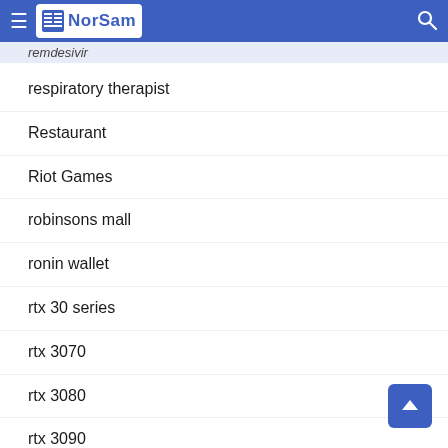NorSam
remdesivir
respiratory therapist
Restaurant
Riot Games
robinsons mall
ronin wallet
rtx 30 series
rtx 3070
rtx 3080
rtx 3090
Rules of Survival
sachzna laparan
Samar Pacific Coastal Road project